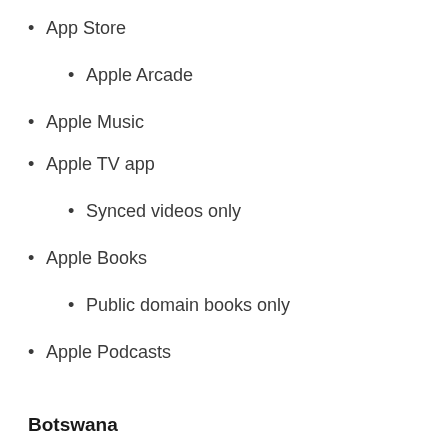App Store
Apple Arcade
Apple Music
Apple TV app
Synced videos only
Apple Books
Public domain books only
Apple Podcasts
Botswana
Apple One
App Store